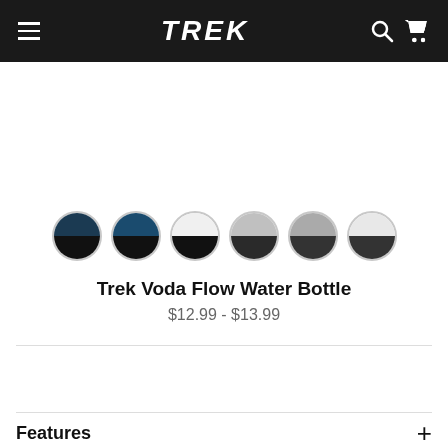TREK
[Figure (illustration): Six circular color swatches showing color variants for the product: dark navy/black split, dark teal/black split, white/black split, light grey/dark grey split, medium grey/dark grey split, white/dark grey split]
Trek Voda Flow Water Bottle
$12.99 - $13.99
Features